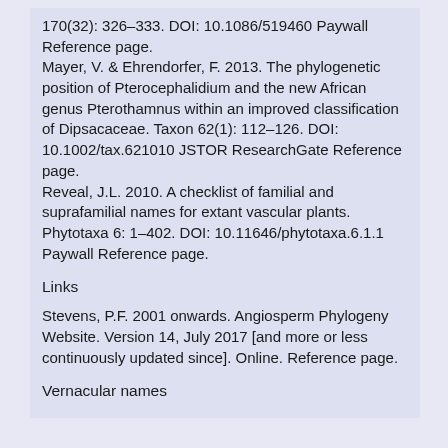170(32): 326–333. DOI: 10.1086/519460 Paywall Reference page. Mayer, V. & Ehrendorfer, F. 2013. The phylogenetic position of Pterocephalidium and the new African genus Pterothamnus within an improved classification of Dipsacaceae. Taxon 62(1): 112–126. DOI: 10.1002/tax.621010 JSTOR ResearchGate Reference page. Reveal, J.L. 2010. A checklist of familial and suprafamilial names for extant vascular plants. Phytotaxa 6: 1–402. DOI: 10.11646/phytotaxa.6.1.1 Paywall Reference page.
Links
Stevens, P.F. 2001 onwards. Angiosperm Phylogeny Website. Version 14, July 2017 [and more or less continuously updated since]. Online. Reference page.
Vernacular names